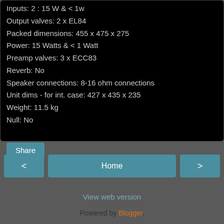Inputs: 2 : 15 W & < 1w
Output valves: 2 x EL84
Packed dimensions: 455 x 475 x 275
Power: 15 Watts & < 1 Watt
Preamp valves: 3 x ECC83
Reverb: No
Speaker connections: 8-16 ohm connections
Unit dims - for int. case: 427 x 435 x 235
Weight: 11.5 kg
Null: No
Share
< Home >
View web version
Powered by Blogger.